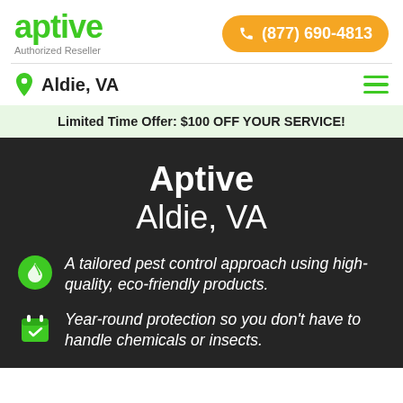[Figure (logo): Aptive green logo with 'Authorized Reseller' subtitle]
(877) 690-4813
Aldie, VA
Limited Time Offer: $100 OFF YOUR SERVICE!
Aptive Aldie, VA
A tailored pest control approach using high-quality, eco-friendly products.
Year-round protection so you don't have to handle chemicals or insects.